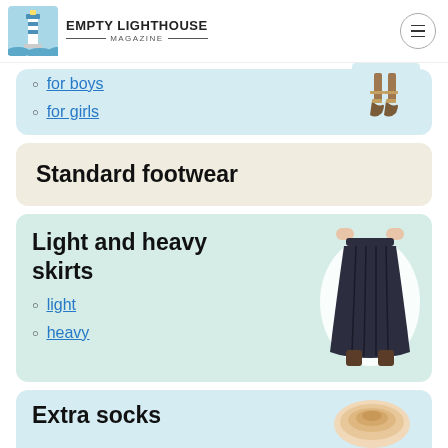Empty Lighthouse Magazine
for boys
for girls
Standard footwear
Light and heavy skirts
light
heavy
Extra socks
[Figure (photo): Legs wearing sandal heels]
[Figure (photo): Dark long pleated skirt being held up]
[Figure (photo): Rolled beige socks]